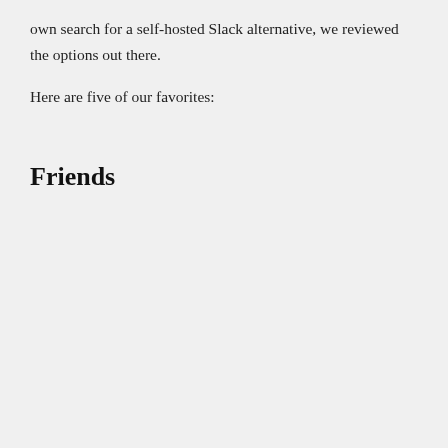own search for a self-hosted Slack alternative, we reviewed the options out there.
Here are five of our favorites:
Friends
[Figure (screenshot): Screenshot of the Friends app, a self-hosted Slack alternative. Shows a Mac-style window with sidebar listing channels (#friends, + Join Channel) and users (mafintosh, maxogden, ngoldman, Fiat, feross, groundwater, shama, DamonOehiman). Main chat shows messages in #friends channel with 5 peers.]